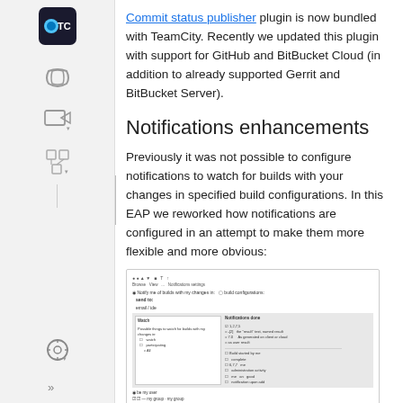Commit status publisher plugin is now bundled with TeamCity. Recently we updated this plugin with support for GitHub and BitBucket Cloud (in addition to already supported Gerrit and BitBucket Server).
Notifications enhancements
Previously it was not possible to configure notifications to watch for builds with your changes in specified build configurations. In this EAP we reworked how notifications are configured in an attempt to make them more flexible and more obvious:
[Figure (screenshot): A screenshot of a TeamCity notification configuration UI panel showing notification settings with watch options and a list of event types to notify about.]